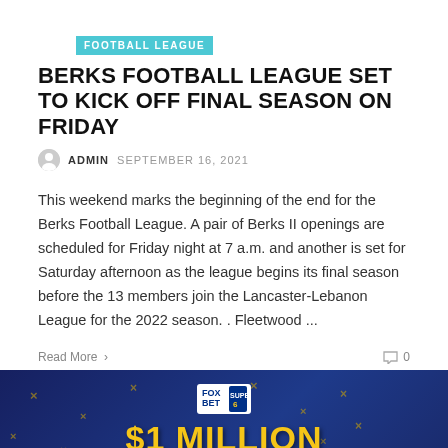FOOTBALL LEAGUE
BERKS FOOTBALL LEAGUE SET TO KICK OFF FINAL SEASON ON FRIDAY
ADMIN  SEPTEMBER 16, 2021
This weekend marks the beginning of the end for the Berks Football League. A pair of Berks II openings are scheduled for Friday night at 7 a.m. and another is set for Saturday afternoon as the league begins its final season before the 13 members join the Lancaster-Lebanon League for the 2022 season. . Fleetwood ...
Read More >   0
[Figure (advertisement): FOX BET advertisement with dark blue background, yellow X marks scattered around, FOX BET SUPER 6 logo in center top, and large yellow text reading $1 MILLION at the bottom]